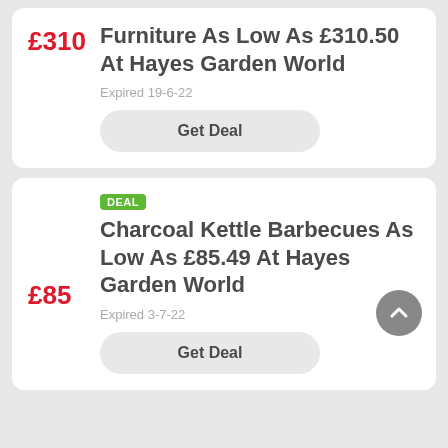£310
Furniture As Low As £310.50 At Hayes Garden World
Expired 19-6-22
Get Deal
DEAL
£85
Charcoal Kettle Barbecues As Low As £85.49 At Hayes Garden World
Expired 3-7-22
Get Deal